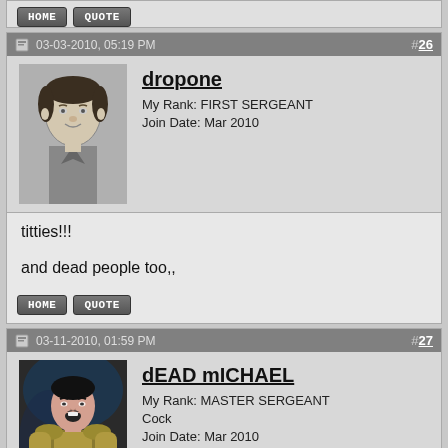[Figure (screenshot): Forum post partial top with HOME and QUOTE buttons]
03-03-2010, 05:19 PM  #26
[Figure (photo): Avatar of user dropone showing a black-and-white portrait photo of a historical figure]
dropone
My Rank: FIRST SERGEANT
Join Date: Mar 2010
titties!!!

and dead people too,,
HOME  QUOTE buttons
03-11-2010, 01:59 PM  #27
[Figure (photo): Avatar of user dEAD mICHAEL showing a performer in costume on stage]
dEAD mICHAEL
My Rank: MASTER SERGEANT
Cock
Join Date: Mar 2010